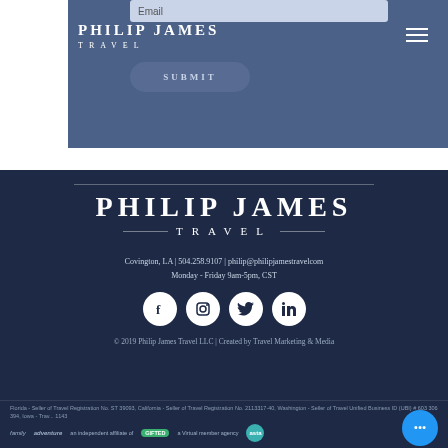PHILIP JAMES TRAVEL
[Figure (screenshot): Website navigation header with Philip James Travel logo, SUBMIT button, and hamburger menu icon on a steel-blue background]
PHILIP JAMES TRAVEL
Covington, LA | 504.258.9107 | philip@philipjamestravel.com
Monday - Friday 9am-5pm, CST
[Figure (illustration): Social media icons: Facebook, Instagram, Twitter, LinkedIn — white circles on dark navy background]
© 2019 Philip James Travel LLC | Created by Travel Marketing & Media
Florida - Seller of Travel Registration No. ST 39093, California - Seller of Travel Registration No. 2113317-40, Washington - Seller of Travel Unified Business ID (UBI) # 603 306 394, Iowa - Trav... 1143
[Figure (logo): Partner/affiliate logos: family, adventure, an independent affiliate of GIFTED, a Virtual member agency, asta]